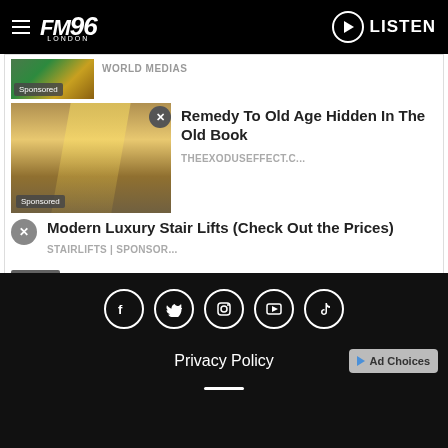FM96 LONDON — LISTEN
WORLD MEDIAS
Sponsored
Remedy To Old Age Hidden In The Old Book
THEEXODUSEFFECT.C...
Sponsored
Modern Luxury Stair Lifts (Check Out the Prices)
STAIRLIFTS | SPONSOR...
Sponsored
Recommended by Outbrain
Privacy Policy  Ad Choices